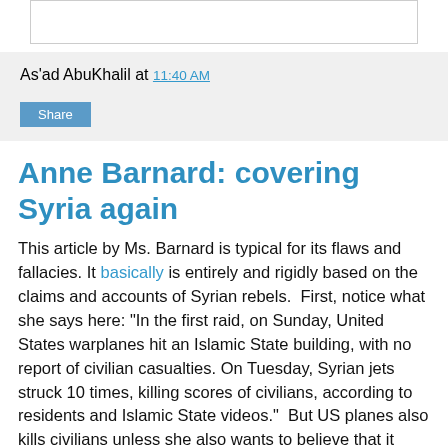As'ad AbuKhalil at 11:40 AM
Share
Anne Barnard: covering Syria again
This article by Ms. Barnard is typical for its flaws and fallacies. It basically is entirely and rigidly based on the claims and accounts of Syrian rebels.  First, notice what she says here: "In the first raid, on Sunday, United States warplanes hit an Islamic State building, with no report of civilian casualties. On Tuesday, Syrian jets struck 10 times, killing scores of civilians, according to residents and Islamic State videos."  But US planes also kills civilians unless she also wants to believe that it does not.  Furthermore, the Syrian regime basically--according to her and to her beloved Free Syrian Army goons--either does not fight ISIS or it fights ISIS and kills civilians.  So what do you want exactly, but I